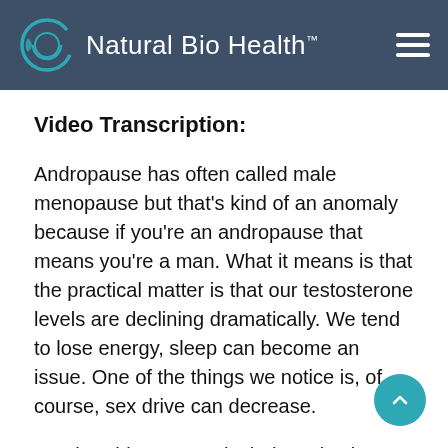Natural Bio Health™
Video Transcription:
Andropause has often called male menopause but that's kind of an anomaly because if you're an andropause that means you're a man. What it means is that the practical matter is that our testosterone levels are declining dramatically. We tend to lose energy, sleep can become an issue. One of the things we notice is, of course, sex drive can decrease.
Another thing we particularly notice is we don't have the energy we used to have. When we go to the gym,